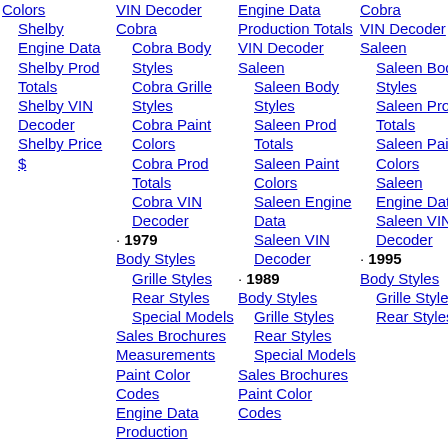Colors
Shelby Engine Data
Shelby Prod Totals
Shelby VIN Decoder
Shelby Price $
VIN Decoder Cobra
Cobra Body Styles
Cobra Grille Styles
Cobra Paint Colors
Cobra Prod Totals
Cobra VIN Decoder
· 1979
Body Styles
Grille Styles
Rear Styles
Special Models
Sales Brochures
Measurements
Paint Color Codes
Engine Data
Production
Engine Data Production
VIN Decoder Saleen
Saleen Body Styles
Saleen Prod Totals
Saleen Paint Colors
Saleen Engine Data
Saleen VIN Decoder
· 1989
Body Styles
Grille Styles
Rear Styles
Special Models
Sales Brochures
Paint Color Codes
Cobra VIN Decoder
Saleen Body Styles
Saleen Prod Totals
Saleen Paint Colors
Saleen Engine Data
Saleen VIN Decoder
· 1995
Body Styles
Grille Styles
Rear Styles
· 2006
Body Styles
Grille Styles
Rear Styles